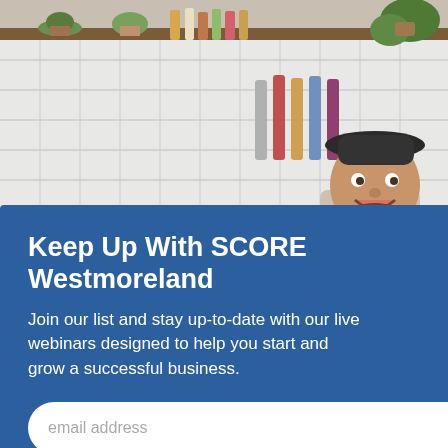[Figure (photo): Background photo of a smiling man in a hat behind a bar/cafe counter with white subway tiles, shelves with bottles and plants]
Keep Up With SCORE Westmoreland
Join our list and stay up-to-date with our live webinars designed to help you start and grow a successful business.
RELATED CONTENT
THE MEGAPHONE OF MAIN STREET:
[Figure (logo): SCORE logo with diagonal stripe marks]